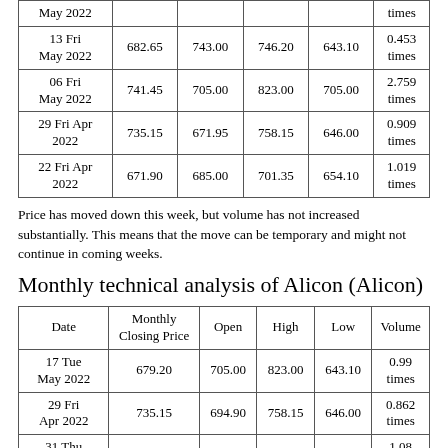| Date | Monthly Closing Price | Open | High | Low | Volume |
| --- | --- | --- | --- | --- | --- |
| May 2022 |  |  |  |  | times |
| 13 Fri May 2022 | 682.65 | 743.00 | 746.20 | 643.10 | 0.453 times |
| 06 Fri May 2022 | 741.45 | 705.00 | 823.00 | 705.00 | 2.759 times |
| 29 Fri Apr 2022 | 735.15 | 671.95 | 758.15 | 646.00 | 0.909 times |
| 22 Fri Apr 2022 | 671.90 | 685.00 | 701.35 | 654.10 | 1.019 times |
Price has moved down this week, but volume has not increased substantially. This means that the move can be temporary and might not continue in coming weeks.
Monthly technical analysis of Alicon (Alicon)
| Date | Monthly Closing Price | Open | High | Low | Volume |
| --- | --- | --- | --- | --- | --- |
| 17 Tue May 2022 | 679.20 | 705.00 | 823.00 | 643.10 | 0.99 times |
| 29 Fri Apr 2022 | 735.15 | 694.90 | 758.15 | 646.00 | 0.862 times |
| 31 Thu Mar 2022 | 659.60 | 766.45 | 780.00 | 655.45 | 1.08 times |